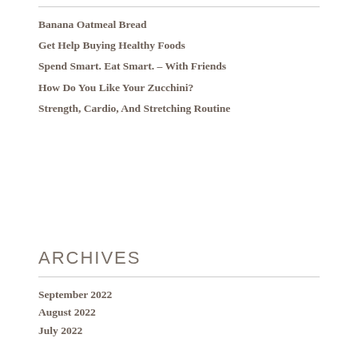Banana Oatmeal Bread
Get Help Buying Healthy Foods
Spend Smart. Eat Smart. – With Friends
How Do You Like Your Zucchini?
Strength, Cardio, And Stretching Routine
ARCHIVES
September 2022
August 2022
July 2022